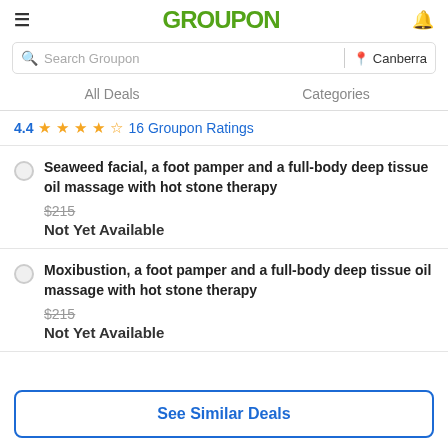GROUPON
Search Groupon | Canberra
All Deals   Categories
4.4 ★★★★½ 16 Groupon Ratings
Seaweed facial, a foot pamper and a full-body deep tissue oil massage with hot stone therapy
$215
Not Yet Available
Moxibustion, a foot pamper and a full-body deep tissue oil massage with hot stone therapy
$215
Not Yet Available
See Similar Deals